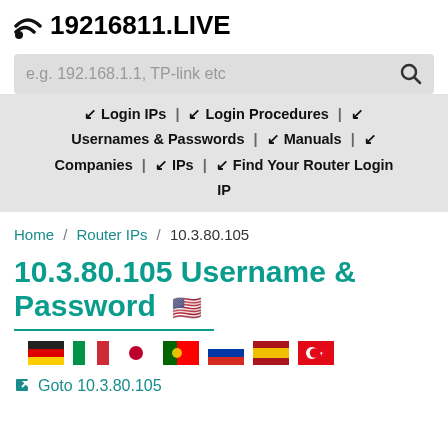19216811.LIVE
e.g. 192.168.1.1, TP-link etc
↯ Login IPs | ↯ Login Procedures | ↯ Usernames & Passwords | ↯ Manuals | ↯ Companies | ↯ IPs | ↯ Find Your Router Login IP
Home / Router IPs / 10.3.80.105
10.3.80.105 Username & Password
[Figure (other): Flag emojis: German, Italian, Japanese, Portuguese, Russian, Spanish, Turkish flags]
Goto 10.3.80.105